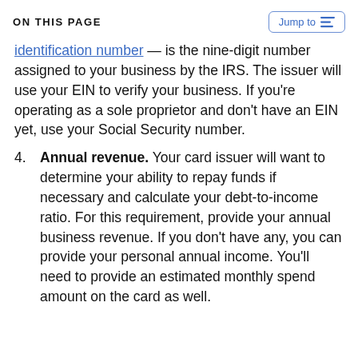ON THIS PAGE
identification number — is the nine-digit number assigned to your business by the IRS. The issuer will use your EIN to verify your business. If you're operating as a sole proprietor and don't have an EIN yet, use your Social Security number.
4. Annual revenue. Your card issuer will want to determine your ability to repay funds if necessary and calculate your debt-to-income ratio. For this requirement, provide your annual business revenue. If you don't have any, you can provide your personal annual income. You'll need to provide an estimated monthly spend amount on the card as well.